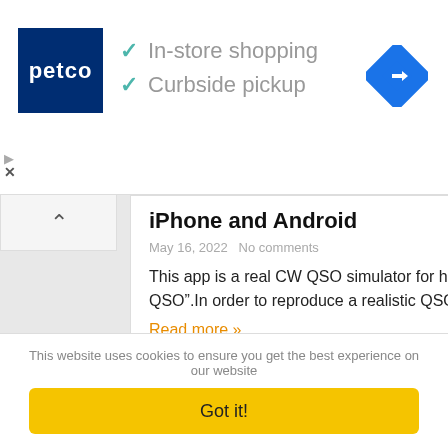[Figure (screenshot): Petco advertisement banner with logo and checkmarks for In-store shopping and Curbside pickup, with a blue navigation arrow icon on the right]
iPhone and Android
May 16, 2022   No comments
This app is a real CW QSO simulator for ham radio operators. Supports “599BK style QSO”.In order to reproduce a realistic QSO environment,...
Read more »
[Figure (screenshot): App interface thumbnail showing buttons labeled MyEvent, Prize Drawings, and Exhibitors in purple and magenta pill shapes]
This website uses cookies to ensure you get the best experience on our website
Got it!